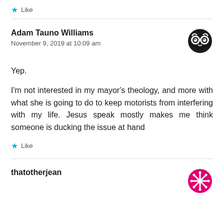Like
Adam Tauno Williams
November 9, 2019 at 10:09 am
Yep.

I'm not interested in my mayor's theology, and more with what she is going to do to keep motorists from interfering with my life. Jesus speak mostly makes me think someone is ducking the issue at hand
Like
thatotherjean